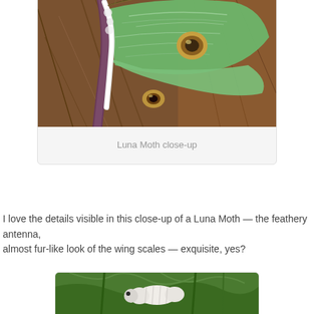[Figure (photo): Close-up photograph of a Luna Moth with green wings showing eye-spot markings and feathery antennae, resting on brown leaves]
Luna Moth close-up
I love the details visible in this close-up of a Luna Moth — the feathery antenna, almost fur-like look of the wing scales — exquisite, yes?
[Figure (photo): Partial photograph showing a white caterpillar or larva among green leaves and plant stems]